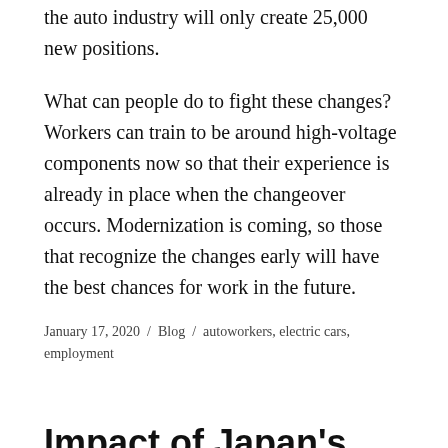the auto industry will only create 25,000 new positions.
What can people do to fight these changes? Workers can train to be around high-voltage components now so that their experience is already in place when the changeover occurs. Modernization is coming, so those that recognize the changes early will have the best chances for work in the future.
January 17, 2020 / Blog / autoworkers, electric cars, employment
Impact of Japan's Declining Birthrates